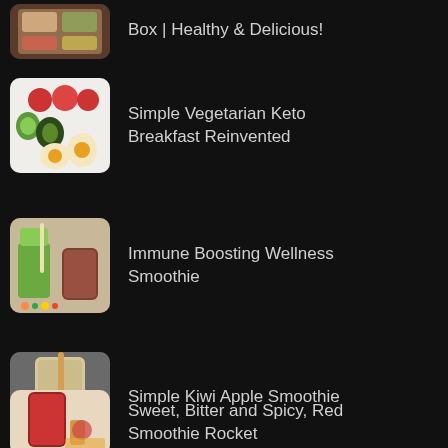Box | Healthy & Delicious!
Simple Vegetarian Keto Breakfast Reinvented
Immune Boosting Wellness Smoothie
Simple Kiwi Apple Smoothie
Sweet, Bitter and Spicy, Red Smoothie Rocket